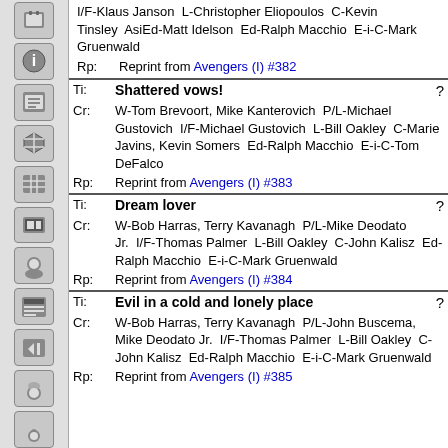I/F-Klaus Janson  L-Christopher Eliopoulos  C-Kevin Tinsley  AsiEd-Matt Idelson  Ed-Ralph Macchio  E-i-C-Mark Gruenwald
Rp: Reprint from Avengers (I) #382
Ti: Shattered vows!
Cr: W-Tom Brevoort, Mike Kanterovich  P/L-Michael Gustovich  I/F-Michael Gustovich  L-Bill Oakley  C-Marie Javins, Kevin Somers  Ed-Ralph Macchio  E-i-C-Tom DeFalco
Rp: Reprint from Avengers (I) #383
Ti: Dream lover
Cr: W-Bob Harras, Terry Kavanagh  P/L-Mike Deodato Jr.  I/F-Thomas Palmer  L-Bill Oakley  C-John Kalisz  Ed-Ralph Macchio  E-i-C-Mark Gruenwald
Rp: Reprint from Avengers (I) #384
Ti: Evil in a cold and lonely place
Cr: W-Bob Harras, Terry Kavanagh  P/L-John Buscema, Mike Deodato Jr.  I/F-Thomas Palmer  L-Bill Oakley  C-John Kalisz  Ed-Ralph Macchio  E-i-C-Mark Gruenwald
Rp: Reprint from Avengers (I) #385